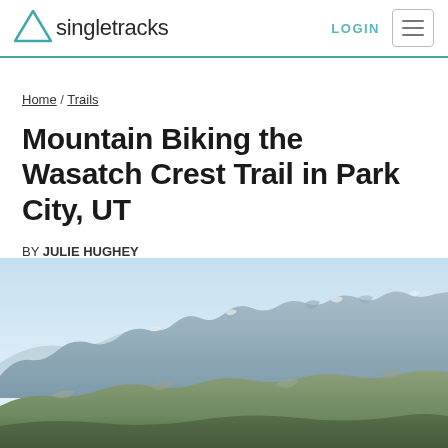Singletracks — LOGIN [nav menu]
Home / Trails
Mountain Biking the Wasatch Crest Trail in Park City, UT
BY JULIE HUGHEY
OCTOBER 2, 2012   UPDATED SEPTEMBER 7, 2018
[Figure (photo): Mountain landscape photo showing rocky peaks and ridgeline under a pale blue sky, with green and grey rocky terrain in the foreground — view from Wasatch Crest Trail area near Park City, UT.]